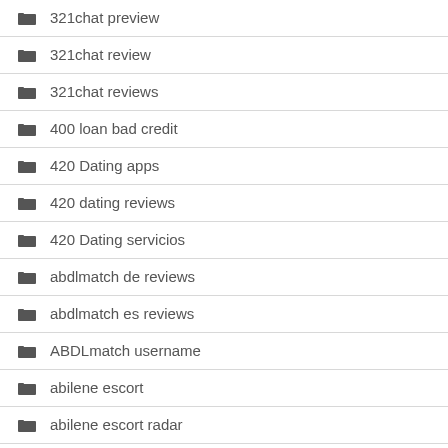321chat preview
321chat review
321chat reviews
400 loan bad credit
420 Dating apps
420 dating reviews
420 Dating servicios
abdlmatch de reviews
abdlmatch es reviews
ABDLmatch username
abilene escort
abilene escort radar